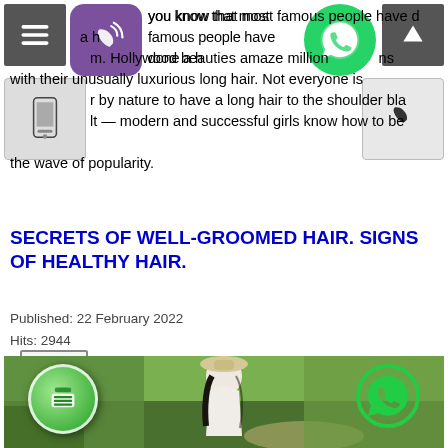you know that most famous people have done a hair extension. Hollywood beauties amaze millions of fans with their unusually luxurious long hair. Not everyone is gifted by nature to have a long hair to the shoulder blade. But it — modern and successful girls know how to be on the wave of popularity.
Read more ...
SECRETS OF WELL-GROOMED HAIR. SIGNS OF HEALTHY HAIR.
Published: 22 February 2022
Hits: 2944
[Figure (photo): Woman in white dress and hat walking outdoors on a path surrounded by green grass and tall plants, carrying shoes in hand, with overlaid phone and WhatsApp icons]